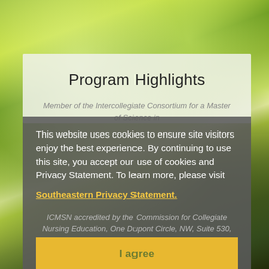[Figure (photo): Blurry outdoor photo background showing green tree leaves with bokeh effect]
Program Highlights
This website uses cookies to ensure site visitors enjoy the best experience. By continuing to use this site, you accept our use of cookies and Privacy Statement. To learn more, please visit
Southeastern Privacy Statement.
Member of the Intercollegiate Consortium for a Master of Science in
ICMSN accredited by the Commission for Collegiate Nursing Education, One Dupont Circle, NW, Suite 530,
I agree
Washington DC 20036; (202)887-6791